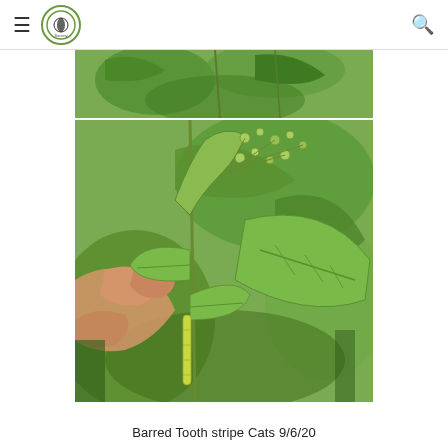≡ [logo] [search]
[Figure (photo): Partial top image showing green leaves and branches on a white background, cropped at top]
[Figure (photo): A hand holding a plant stem with small green flower buds and elongated green leaves, outdoor nature setting]
Barred Tooth stripe Cats 9/6/20